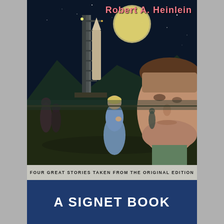[Figure (illustration): Vintage science fiction paperback book cover illustration showing a nighttime launch pad scene with a rocket on a gantry, a large moon in the sky, mountains in background, a woman in a blue suit standing in the foreground, a man's face in close-up on the right side, and shadowy figures on the left. Dark blue night sky atmosphere.]
Robert A. Heinlein
FOUR GREAT STORIES TAKEN FROM THE ORIGINAL EDITION
A SIGNET BOOK